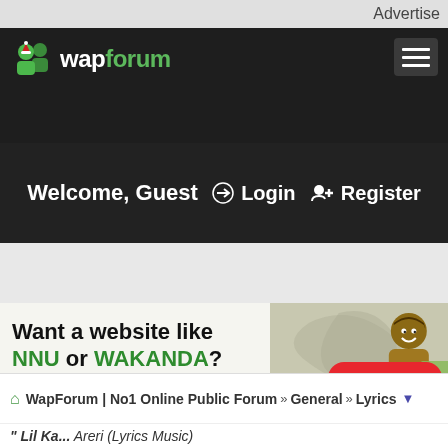Advertise
[Figure (logo): WapForum logo with green people icons and Santa hat]
Welcome, Guest
Login
Register
[Figure (infographic): Advertisement banner: Want a website like NNU or WAKANDA? Let's help you design it within 4days! CLICK HERE. Shows a man holding money.]
WapForum | No1 Online Public Forum » General » Lyrics